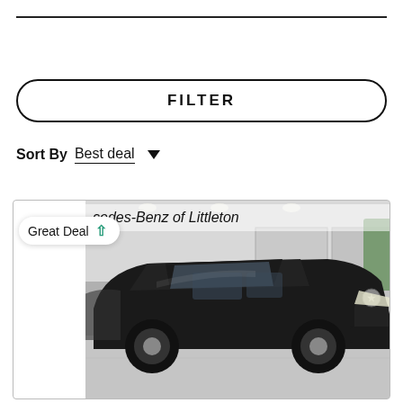FILTER
Sort By  Best deal
[Figure (photo): Black Mercedes-Benz SUV (GLC class) photographed inside a dealership showroom. A 'Great Deal' badge with a teal up arrow is overlaid on the top-left of the image. The dealership name 'Mercedes-Benz of Littleton' is visible on a banner in the background.]